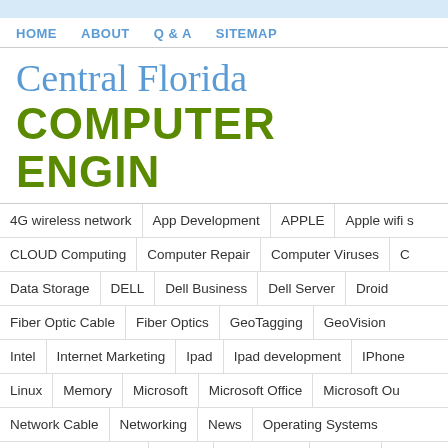HOME  ABOUT  Q & A  SITEMAP
Central Florida COMPUTER ENGIN
4G wireless network | App Development | APPLE | Apple wifi s
CLOUD Computing | Computer Repair | Computer Viruses | C
Data Storage | DELL | Dell Business | Dell Server | Droid
Fiber Optic Cable | Fiber Optics | GeoTagging | GeoVision
Intel | Internet Marketing | Ipad | Ipad development | IPhone
Linux | Memory | Microsoft | Microsoft Office | Microsoft Ou
Network Cable | Networking | News | Operating Systems
Questions & Answers | RAID 1 | RAID Levels | Reviews | S
Social Media | Software | Software Development | Software Ra